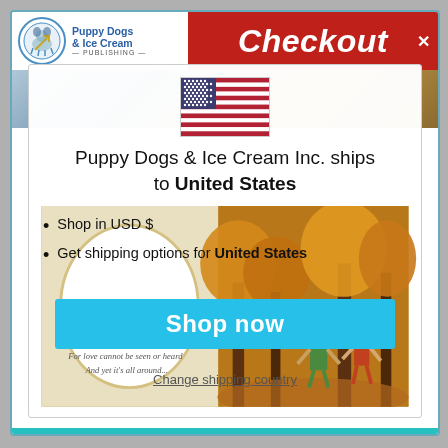[Figure (screenshot): Puppy Dogs & Ice Cream Publishing logo with circular emblem and blue text]
Checkout
[Figure (illustration): US flag emoji icon]
Puppy Dogs & Ice Cream Inc. ships to United States
Shop in USD $
Get shipping options for United States
[Figure (illustration): Children's book illustration showing autumn forest scene with two children and a poem overlay]
Shop now
Change shipping country